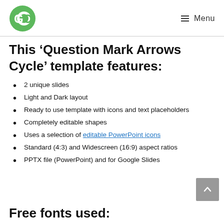GO — Menu
This ‘Question Mark Arrows Cycle’ template features:
2 unique slides
Light and Dark layout
Ready to use template with icons and text placeholders
Completely editable shapes
Uses a selection of editable PowerPoint icons
Standard (4:3) and Widescreen (16:9) aspect ratios
PPTX file (PowerPoint) and for Google Slides
Free fonts used: